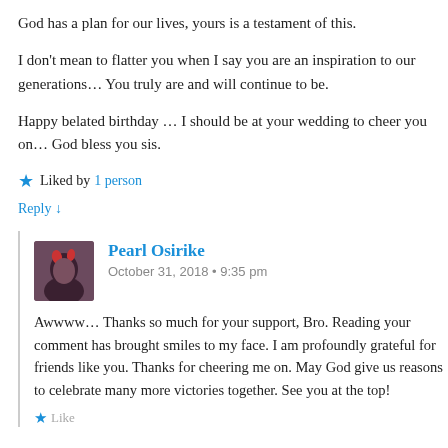God has a plan for our lives, yours is a testament of this.
I don't mean to flatter you when I say you are an inspiration to our generations… You truly are and will continue to be.
Happy belated birthday … I should be at your wedding to cheer you on… God bless you sis.
★ Liked by 1 person
Reply ↓
Pearl Osirike
October 31, 2018 • 9:35 pm
Awwww… Thanks so much for your support, Bro. Reading your comment has brought smiles to my face. I am profoundly grateful for friends like you. Thanks for cheering me on. May God give us reasons to celebrate many more victories together. See you at the top!